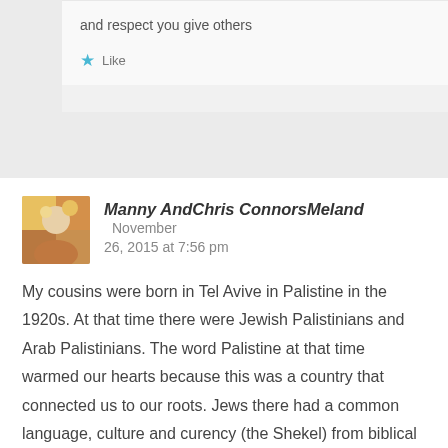and respect you give others
Like
Manny AndChris ConnorsMeland  November 26, 2015 at 7:56 pm
My cousins were born in Tel Avive in Palistine in the 1920s. At that time there were Jewish Palistinians and Arab Palistinians. The word Palistine at that time warmed our hearts because this was a country that connected us to our roots. Jews there had a common language, culture and curency (the Shekel) from biblical times. The Arab Palistinians never had a currency of their own. They are kin to the Arab Jordanians, Arab Iraqis, etc. The Jews claim no other